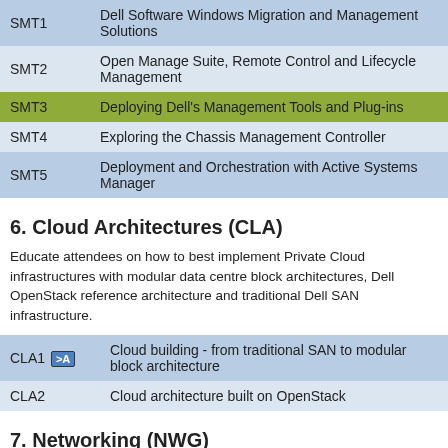| Code | Description |
| --- | --- |
| SMT1 | Dell Software Windows Migration and Management Solutions |
| SMT2 | Open Manage Suite, Remote Control and Lifecycle Management |
| SMT3 | Deploying Dell's Management Tools and Plug-ins |
| SMT4 | Exploring the Chassis Management Controller |
| SMT5 | Deployment and Orchestration with Active Systems Manager |
6. Cloud Architectures (CLA)
Educate attendees on how to best implement Private Cloud infrastructures with modular data centre block architectures, Dell OpenStack reference architecture and traditional Dell SAN infrastructure.
| Code | Description |
| --- | --- |
| CLA1 >A | Cloud building - from traditional SAN to modular block architecture |
| CLA2 | Cloud architecture built on OpenStack |
7. Networking (NWG)
Educate attendees on principle Dell Networking technologies, architectures and best-practices for data centre, campus and mobile environments, with an emphasis